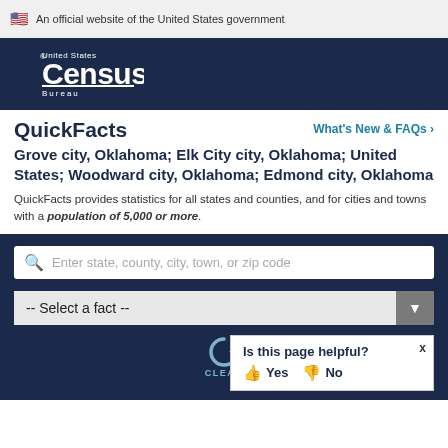An official website of the United States government
[Figure (logo): United States Census Bureau logo]
QuickFacts
What's New & FAQs >
Grove city, Oklahoma; Elk City city, Oklahoma; United States; Woodward city, Oklahoma; Edmond city, Oklahoma
QuickFacts provides statistics for all states and counties, and for cities and towns with a population of 5,000 or more.
Enter state, county, city, town, or zip code
-- Select a fact --
CLEAR
Is this page helpful? Yes No